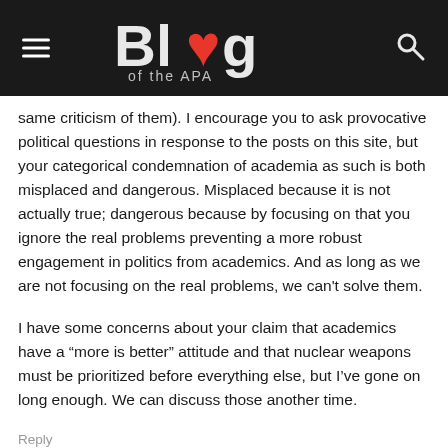Blog of the APA
same criticism of them). I encourage you to ask provocative political questions in response to the posts on this site, but your categorical condemnation of academia as such is both misplaced and dangerous. Misplaced because it is not actually true; dangerous because by focusing on that you ignore the real problems preventing a more robust engagement in politics from academics. And as long as we are not focusing on the real problems, we can't solve them.
I have some concerns about your claim that academics have a “more is better” attitude and that nuclear weapons must be prioritized before everything else, but I’ve gone on long enough. We can discuss those another time.
Reply